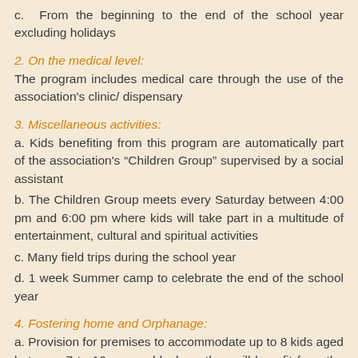c.  From the beginning to the end of the school year excluding holidays
2. On the medical level:
The program includes medical care through the use of the association's clinic/ dispensary
3. Miscellaneous activities:
a. Kids benefiting from this program are automatically part of the association's “Children Group” supervised by a social assistant
b. The Children Group meets every Saturday between 4:00 pm and 6:00 pm where kids will take part in a multitude of entertainment, cultural and spiritual activities
c. Many field trips during the school year
d. 1 week Summer camp to celebrate the end of the school year
4. Fostering home and Orphanage:
a. Provision for premises to accommodate up to 8 kids aged between 7 to 10 years old where they will benefit from the services provided by the home: